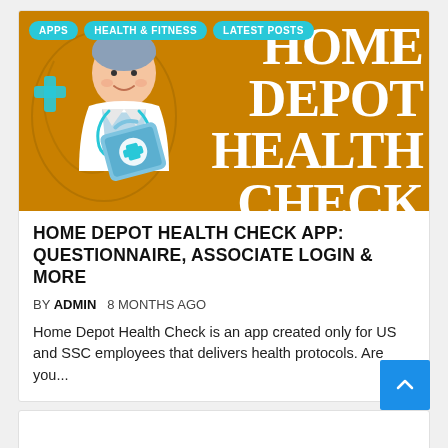[Figure (illustration): Orange banner image with a doctor/nurse cartoon illustration on the left holding a medical kit, and large white bold text on the right reading HOME DEPOT HEALTH CHECK. Three cyan pill-shaped tags at the top: APPS, HEALTH & FITNESS, LATEST POSTS.]
HOME DEPOT HEALTH CHECK APP: QUESTIONNAIRE, ASSOCIATE LOGIN & MORE
BY ADMIN   8 MONTHS AGO
Home Depot Health Check is an app created only for US and SSC employees that delivers health protocols. Are you...